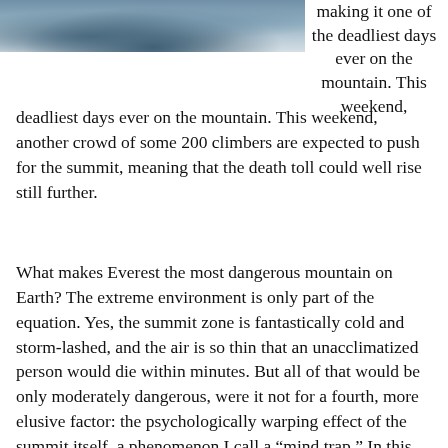[Figure (photo): Partial view of a snowy mountain scene, cropped at top of page]
making it one of the deadliest days ever on the mountain. This weekend, another crowd of some 200 climbers are expected to push for the summit, meaning that the death toll could well rise still further.
What makes Everest the most dangerous mountain on Earth? The extreme environment is only part of the equation. Yes, the summit zone is fantastically cold and storm-lashed, and the air is so thin that an unacclimatized person would die within minutes. But all of that would be only moderately dangerous, were it not for a fourth, more elusive factor: the psychologically warping effect of the summit itself, a phenomenon I call a “mind trap.” In this kind of situation, our ability to make a correct decision becomes dangerously skewed, so that a small error